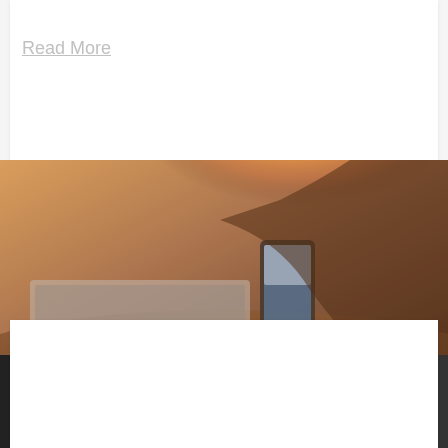Read More
[Figure (photo): Person using a smartphone while sitting in front of a laptop, with warm golden sunlight in the background]
PRESS RELEASE
Engage your guest! easyHotels